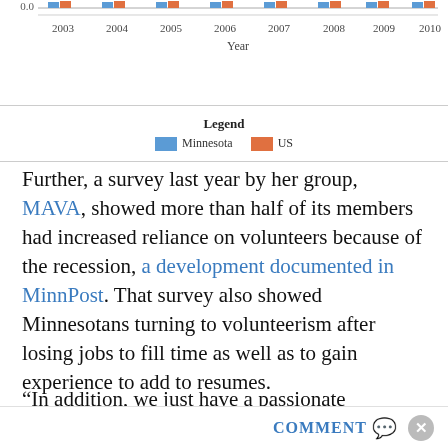[Figure (bar-chart): Volunteer rate by year]
Legend
Minnesota  US
Further, a survey last year by her group, MAVA, showed more than half of its members had increased reliance on volunteers because of the recession, a development documented in MinnPost. That survey also showed Minnesotans turning to volunteerism after losing jobs to fill time as well as to gain experience to add to resumes.
“In addition, we just have a passionate community here of organizations and individuals that want to do
COMMENT